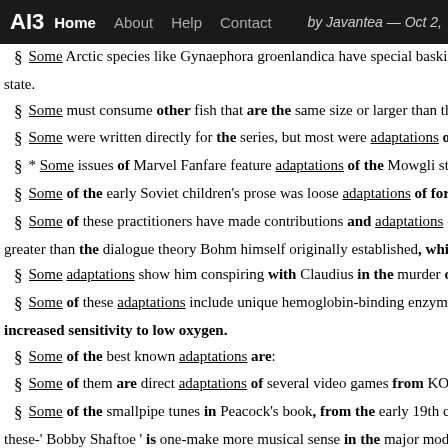AI3  Home  About  Help  Contact  by Javantea — Oct 2,
§ Some Arctic species like Gynaephora groenlandica have special basking ar
state.
§ Some must consume other fish that are the same size or larger than them a
§ Some were written directly for the series, but most were adaptations of alre
§ * Some issues of Marvel Fanfare feature adaptations of the Mowgli stories
§ Some of the early Soviet children's prose was loose adaptations of foreign
§ Some of these practitioners have made contributions and adaptations comp
greater than the dialogue theory Bohm himself originally established, which, D
§ Some adaptations show him conspiring with Claudius in the murder of Ki
§ Some of these adaptations include unique hemoglobin-binding enzymes, do
increased sensitivity to low oxygen.
§ Some of the best known adaptations are:
§ Some of them are direct adaptations of several video games from KOF '94
§ Some of the smallpipe tunes in Peacock's book, from the early 19th centur
these-' Bobby Shaftoe ' is one-make more musical sense in the major mode with
§ Some adaptations have made Goblins distinct from Orcs.
§ Some of Tyne Tees best known programming includes the groundbreaking
and children's programmes such as Supergran.
§ Some of the additional packages were adaptations for netbooks and notebo
§ Some of the stories he appeared in include adaptations of Donkey Kong Co